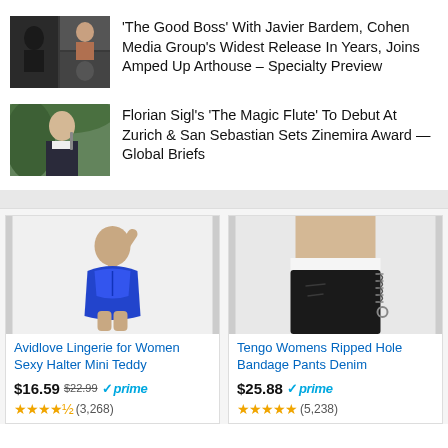[Figure (photo): Thumbnail image for The Good Boss article, showing two men in dark clothing]
'The Good Boss' With Javier Bardem, Cohen Media Group's Widest Release In Years, Joins Amped Up Arthouse – Specialty Preview
[Figure (photo): Thumbnail image for The Magic Flute article, showing a young man playing a flute outdoors]
Florian Sigl's 'The Magic Flute' To Debut At Zurich & San Sebastian Sets Zinemira Award — Global Briefs
[Figure (photo): Product photo of blue lingerie teddy on model]
Avidlove Lingerie for Women Sexy Halter Mini Teddy
$16.59 $22.99 ✓prime ★★★★½ (3,268)
[Figure (photo): Product photo of black ripped denim shorts on model]
Tengo Womens Ripped Hole Bandage Pants Denim
$25.88 ✓prime ★★★★★ (5,238)